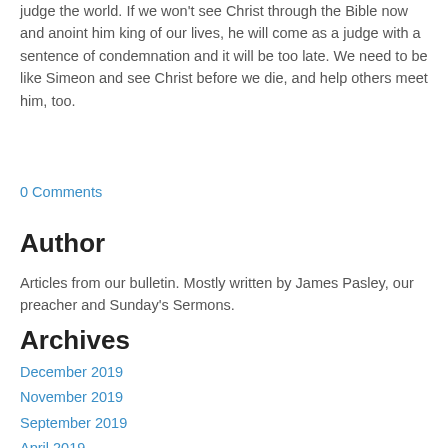judge the world. If we won't see Christ through the Bible now and anoint him king of our lives, he will come as a judge with a sentence of condemnation and it will be too late. We need to be like Simeon and see Christ before we die, and help others meet him, too.
0 Comments
Author
Articles from our bulletin. Mostly written by James Pasley, our preacher and Sunday's Sermons.
Archives
December 2019
November 2019
September 2019
April 2019
March 2019
February 2019
January 2019
December 2018